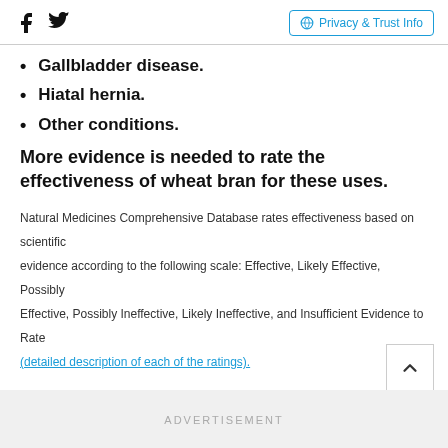Facebook Twitter | Privacy & Trust Info
Gallbladder disease.
Hiatal hernia.
Other conditions.
More evidence is needed to rate the effectiveness of wheat bran for these uses.
Natural Medicines Comprehensive Database rates effectiveness based on scientific evidence according to the following scale: Effective, Likely Effective, Possibly Effective, Possibly Ineffective, Likely Ineffective, and Insufficient Evidence to Rate (detailed description of each of the ratings).